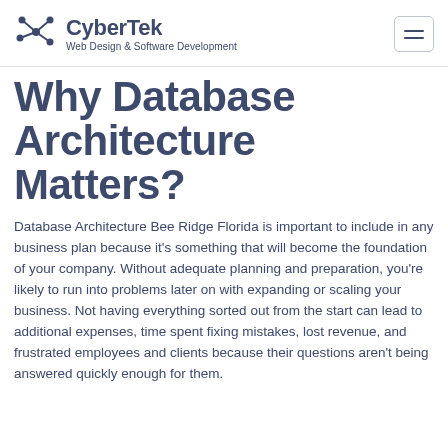CyberTek Web Design & Software Development
Why Database Architecture Matters?
Database Architecture Bee Ridge Florida is important to include in any business plan because it's something that will become the foundation of your company. Without adequate planning and preparation, you're likely to run into problems later on with expanding or scaling your business. Not having everything sorted out from the start can lead to additional expenses, time spent fixing mistakes, lost revenue, and frustrated employees and clients because their questions aren't being answered quickly enough for them.